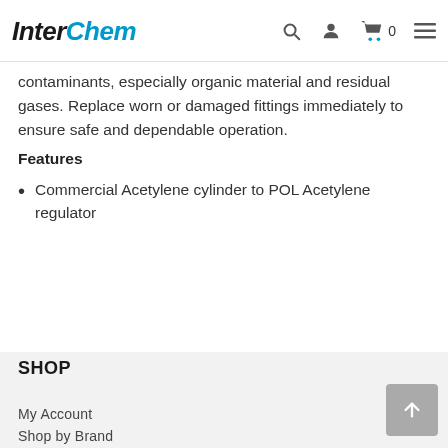InterChem
contaminants, especially organic material and residual gases. Replace worn or damaged fittings immediately to ensure safe and dependable operation.
Features
Commercial Acetylene cylinder to POL Acetylene regulator
SHOP
My Account
Shop by Brand
Shop by Category
ABOUT INTERCHEM